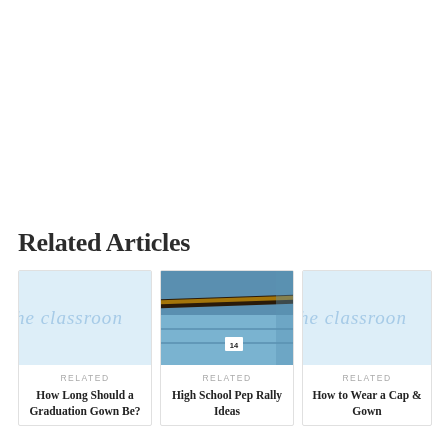Related Articles
[Figure (photo): Light blue placeholder card with 'the classroom' watermark text for article: How Long Should a Graduation Gown Be?]
RELATED
How Long Should a Graduation Gown Be?
[Figure (photo): Photo of blue stadium bleacher seats with a metal railing visible, seat number 14 shown, for article: High School Pep Rally Ideas]
RELATED
High School Pep Rally Ideas
[Figure (photo): Light blue placeholder card with 'the classroom' watermark text for article: How to Wear a Cap & Gown]
RELATED
How to Wear a Cap & Gown